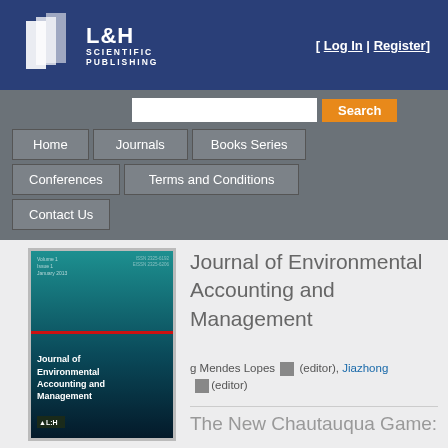[Figure (logo): L&H Scientific Publishing logo with white angular book pages graphic and text]
[ Log In | Register ]
[Figure (screenshot): Navigation bar with Home, Journals, Books Series, Conferences, Terms and Conditions, Contact Us buttons and Search field]
[Figure (photo): Journal of Environmental Accounting and Management journal cover, teal/dark blue gradient with red line]
Journal of Environmental Accounting and Management
...g Mendes Lopes (editor), Jiazhong ... (editor)
The New Chautauqua Game: